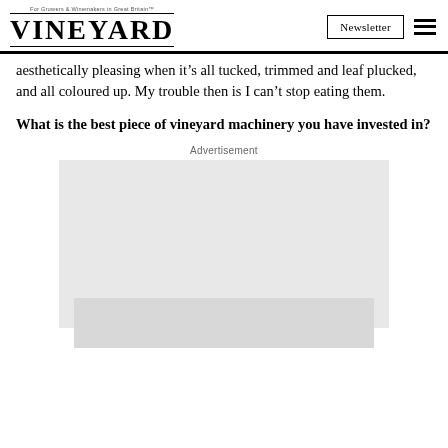VINEYARD — Newsletter
aesthetically pleasing when it's all tucked, trimmed and leaf plucked, and all coloured up. My trouble then is I can't stop eating them.
What is the best piece of vineyard machinery you have invested in?
[Figure (other): Advertisement placeholder box (light grey rectangle)]